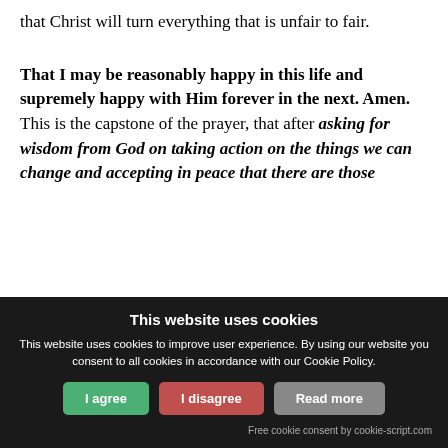that Christ will turn everything that is unfair to fair.
That I may be reasonably happy in this life and supremely happy with Him forever in the next. Amen. This is the capstone of the prayer, that after asking for wisdom from God on taking action on the things we can change and accepting in peace that there are those
This website uses cookies
This website uses cookies to improve user experience. By using our website you consent to all cookies in accordance with our Cookie Policy.
I agree | I disagree | Read more
Free cookie consent by cookie-script.com